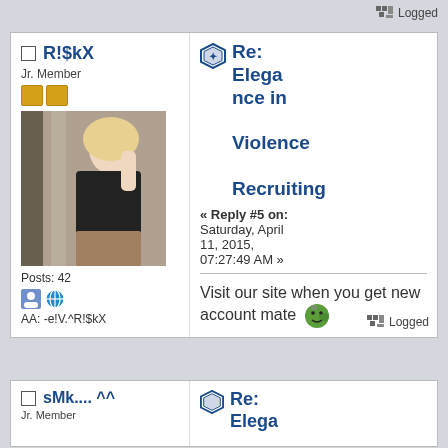Logged
R!$kX
Jr. Member
[Figure (photo): Avatar photo of a blonde woman posing in a dark outfit with text overlay reading ELEGANCE & VIOLENCE]
Posts: 42
AA: -e!V.^R!$kX
Re: Elegance in Violence Recruiting
« Reply #5 on: Saturday, April 11, 2015, 07:27:49 AM »
Visit our site when you get new account mate
Logged
sMk.... ^^
Re: Elega